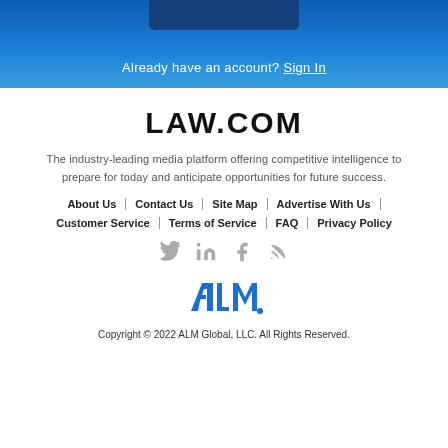Already have an account? Sign In
LAW.COM
The industry-leading media platform offering competitive intelligence to prepare for today and anticipate opportunities for future success.
About Us | Contact Us | Site Map | Advertise With Us
Customer Service | Terms of Service | FAQ | Privacy Policy
[Figure (other): Social media icons: Twitter, LinkedIn, Facebook, RSS]
[Figure (logo): ALM logo in blue]
Copyright © 2022 ALM Global, LLC. All Rights Reserved.